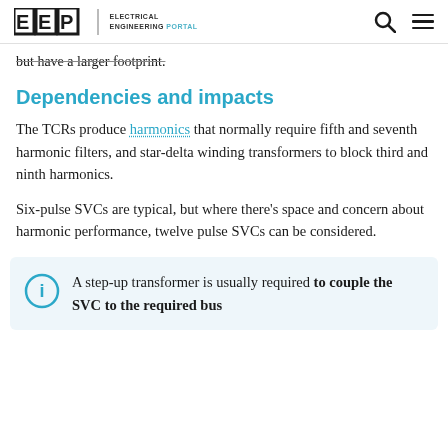EEP | ELECTRICAL ENGINEERING PORTAL
but have a larger footprint.
Dependencies and impacts
The TCRs produce harmonics that normally require fifth and seventh harmonic filters, and star-delta winding transformers to block third and ninth harmonics.
Six-pulse SVCs are typical, but where there's space and concern about harmonic performance, twelve pulse SVCs can be considered.
A step-up transformer is usually required to couple the SVC to the required bus